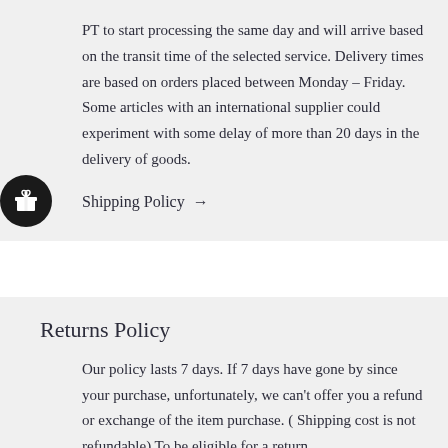PT to start processing the same day and will arrive based on the transit time of the selected service. Delivery times are based on orders placed between Monday – Friday. Some articles with an international supplier could experiment with some delay of more than 20 days in the delivery of goods.
Shipping Policy →
Returns Policy
Our policy lasts 7 days. If 7 days have gone by since your purchase, unfortunately, we can't offer you a refund or exchange of the item purchase. ( Shipping cost is not refundable) To be eligible for a return,